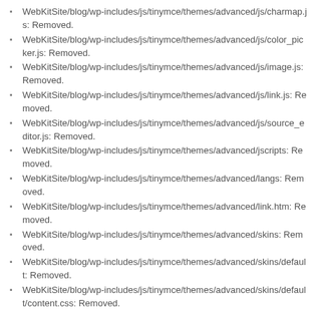WebKitSite/blog/wp-includes/js/tinymce/themes/advanced/js/charmap.js: Removed.
WebKitSite/blog/wp-includes/js/tinymce/themes/advanced/js/color_picker.js: Removed.
WebKitSite/blog/wp-includes/js/tinymce/themes/advanced/js/image.js: Removed.
WebKitSite/blog/wp-includes/js/tinymce/themes/advanced/js/link.js: Removed.
WebKitSite/blog/wp-includes/js/tinymce/themes/advanced/js/source_editor.js: Removed.
WebKitSite/blog/wp-includes/js/tinymce/themes/advanced/jscripts: Removed.
WebKitSite/blog/wp-includes/js/tinymce/themes/advanced/langs: Removed.
WebKitSite/blog/wp-includes/js/tinymce/themes/advanced/link.htm: Removed.
WebKitSite/blog/wp-includes/js/tinymce/themes/advanced/skins: Removed.
WebKitSite/blog/wp-includes/js/tinymce/themes/advanced/skins/default: Removed.
WebKitSite/blog/wp-includes/js/tinymce/themes/advanced/skins/default/content.css: Removed.
WebKitSite/blog/wp-includes/js/tinymce/themes/advanced/skins/default/dialog.css: Removed.
WebKitSite/blog/wp-